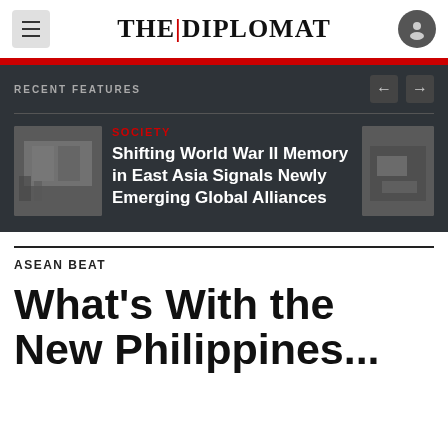THE DIPLOMAT
RECENT FEATURES
[Figure (photo): Thumbnail image of a person in a museum or exhibition hall with display cases]
SOCIETY
Shifting World War II Memory in East Asia Signals Newly Emerging Global Alliances
[Figure (photo): Thumbnail image showing hands, possibly handling money or documents]
ASEAN BEAT
What's With the New Philippines...